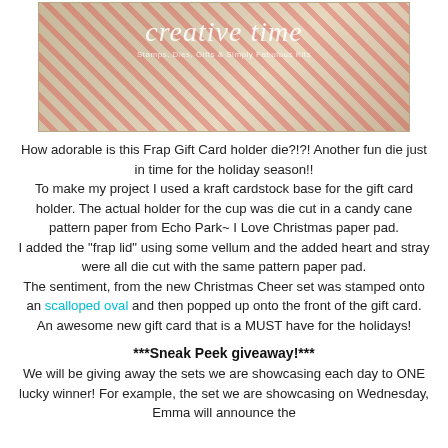[Figure (photo): Photo of a Frap Gift Card holder die with candy cane pattern paper and a creative time logo watermark overlay]
How adorable is this Frap Gift Card holder die?!?! Another fun die just in time for the holiday season!!
To make my project I used a kraft cardstock base for the gift card holder. The actual holder for the cup was die cut in a candy cane pattern paper from Echo Park~ I Love Christmas paper pad.
I added the "frap lid" using some vellum and the added heart and stray were all die cut with the same pattern paper pad.
The sentiment, from the new Christmas Cheer set was stamped onto an scalloped oval and then popped up onto the front of the gift card.
An awesome new gift card that is a MUST have for the holidays!
***Sneak Peek giveaway!***
We will be giving away the sets we are showcasing each day to ONE lucky winner! For example, the set we are showcasing on Wednesday, Emma will announce the